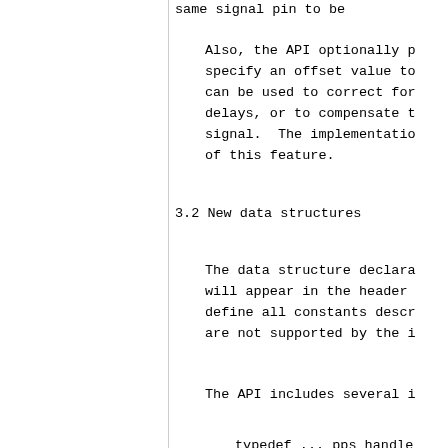same signal pin to be
Also, the API optionally p specify an offset value to can be used to correct for delays, or to compensate t signal.  The implementatio of this feature.
3.2 New data structures
The data structure declara will appear in the header define all constants descr are not supported by the i
The API includes several i
typedef ... pps_handle_
typedef unsigned ... p